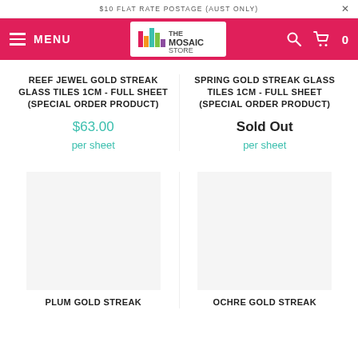$10 FLAT RATE POSTAGE (AUST ONLY)
[Figure (logo): The Mosaic Store logo with colorful vertical bar chart icon and text]
REEF JEWEL GOLD STREAK GLASS TILES 1CM - FULL SHEET (SPECIAL ORDER PRODUCT)
$63.00
per sheet
SPRING GOLD STREAK GLASS TILES 1CM - FULL SHEET (SPECIAL ORDER PRODUCT)
Sold Out
per sheet
PLUM GOLD STREAK
OCHRE GOLD STREAK